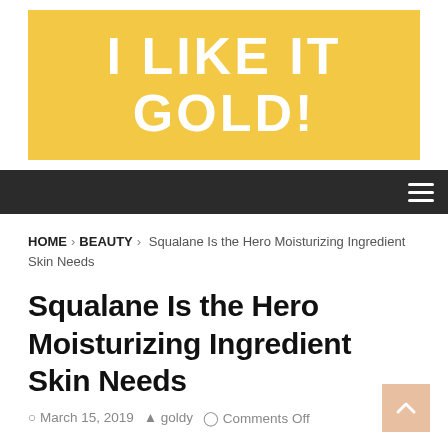[Figure (logo): I LIKE IT GOLD! blog logo — gold/yellow background with large white bold uppercase text]
Navigation bar with hamburger menu icon
HOME > BEAUTY > Squalane Is the Hero Moisturizing Ingredient Skin Needs
Squalane Is the Hero Moisturizing Ingredient Skin Needs
March 15, 2019   goldy   Comments Off